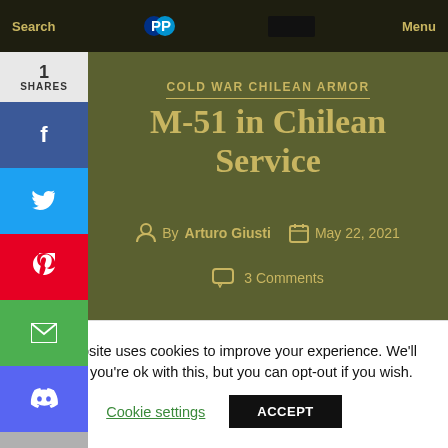Search | PayPal | Donate | Menu
1
SHARES
COLD WAR CHILEAN ARMOR
M-51 in Chilean Service
By Arturo Giusti   May 22, 2021
3 Comments
[Figure (photo): M-51 tank illustration/render in dark olive green color, showing the tank barrel and turret from a side angle]
This website uses cookies to improve your experience. We'll assume you're ok with this, but you can opt-out if you wish.
Cookie settings   ACCEPT